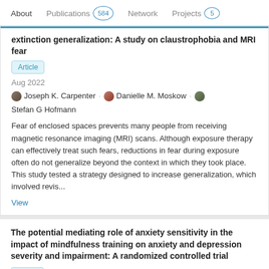About  Publications 584  Network  Projects 5
extinction generalization: A study on claustrophobia and MRI fear
Article
Aug 2022
Joseph K. Carpenter · Danielle M. Moskow · Stefan G Hofmann
Fear of enclosed spaces prevents many people from receiving magnetic resonance imaging (MRI) scans. Although exposure therapy can effectively treat such fears, reductions in fear during exposure often do not generalize beyond the context in which they took place. This study tested a strategy designed to increase generalization, which involved revis...
View
The potential mediating role of anxiety sensitivity in the impact of mindfulness training on anxiety and depression severity and impairment: A randomized controlled trial
Article